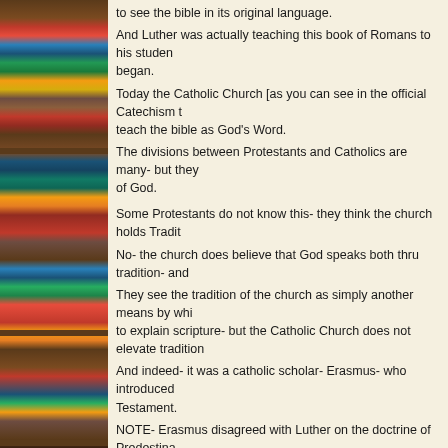[Figure (photo): Bookshelf with colorful books on the left side of the page]
to see the bible in its original language.
And Luther was actually teaching this book of Romans to his students when the reformation began.
Today the Catholic Church [as you can see in the official Catechism today] does indeed teach the bible as God's Word.
The divisions between Protestants and Catholics are many- but they both accept the Word of God.
Some Protestants do not know this- they think the church holds Tradition above scripture.
No- the church does believe that God speaks both thru tradition- and thru scripture.
They see the tradition of the church as simply another means by which God has sought to explain scripture- but the Catholic Church does not elevate tradition above scripture.
And indeed- it was a catholic scholar- Erasmus- who introduced the Greek New Testament.
NOTE- Erasmus disagreed with Luther on the doctrine of Predestination.
Luther was for it- Erasmus was what we would call 'Free Will'.
In his writings- which were very influential- he wrote in Greek and Latin.
He did this on purpose- for his target was the influential leaders of the day.
He rejected offers of money- because he did not want to align himself with any ruler- so he could be an independent writer with no strings attached.